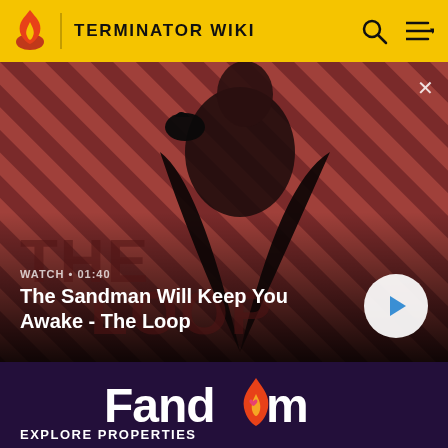TERMINATOR WIKI
[Figure (screenshot): Video banner thumbnail showing a dark figure with a raven on shoulder against a diagonal striped red/dark background. Text shows WATCH • 01:40 and 'The Sandman Will Keep You Awake - The Loop'. A play button circle is shown on the right.]
The Sandman Will Keep You Awake - The Loop
[Figure (logo): Fandom logo in white text with flame/heart icon replacing the 'o' in Fandom, on dark purple background]
EXPLORE PROPERTIES